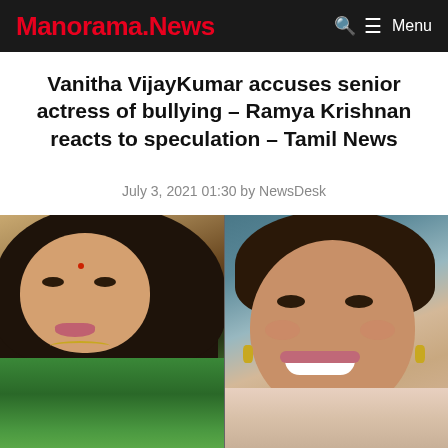Manorama.News    Q ≡ Menu
Vanitha VijayKumar accuses senior actress of bullying – Ramya Krishnan reacts to speculation – Tamil News
July 3, 2021 01:30 by NewsDesk
[Figure (photo): Two side-by-side photos: left shows a woman in a green saree with long dark wavy hair (Ramya Krishnan), right shows a smiling younger woman wearing earrings (Vanitha VijayKumar)]